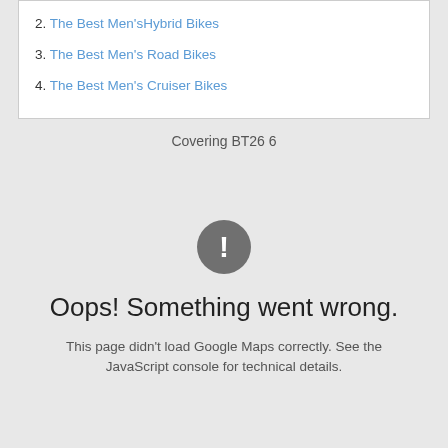2. The Best Men'sHybrid Bikes
3. The Best Men's Road Bikes
4. The Best Men's Cruiser Bikes
Covering BT26 6
[Figure (screenshot): Google Maps error state showing a dark grey circle with exclamation mark icon, 'Oops! Something went wrong.' heading, and subtext 'This page didn't load Google Maps correctly. See the JavaScript console for technical details.']